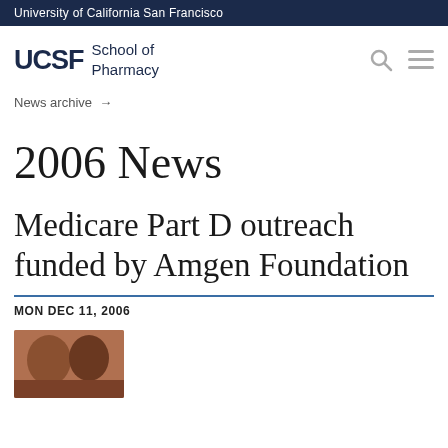University of California San Francisco
[Figure (logo): UCSF School of Pharmacy logo with search and menu icons]
News archive →
2006 News
Medicare Part D outreach funded by Amgen Foundation
MON DEC 11, 2006
[Figure (photo): Partial photo showing close-up of people's heads/faces]